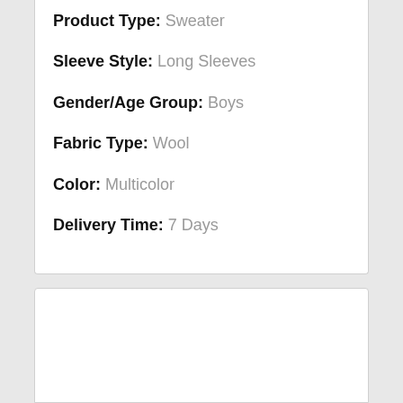Product Type: Sweater
Sleeve Style: Long Sleeves
Gender/Age Group: Boys
Fabric Type: Wool
Color: Multicolor
Delivery Time: 7 Days